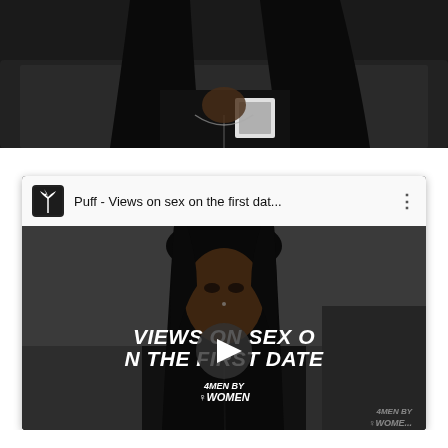[Figure (photo): Top portion of a person with long black hair wearing a dark shirt, close-up cropped view showing chest and hair only]
[Figure (screenshot): YouTube-style video card showing a video titled 'Puff - Views on sex on the first dat...' with a play button overlay. The video thumbnail shows a Black woman with long hair and the text overlay reads 'VIEWS ON SEX ON THE FIRST DATE' with a '4MEN BY WOMEN' brand logo. The channel icon shows a palm tree logo.]